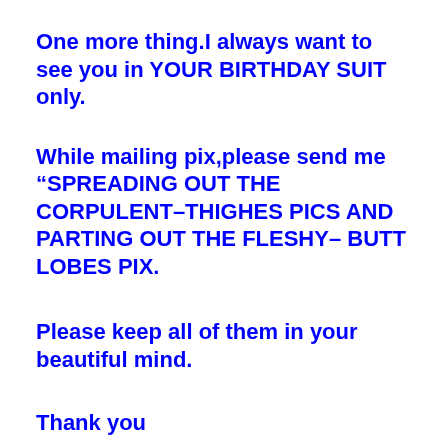One more thing.I always want to see you in YOUR BIRTHDAY SUIT only.
While mailing pix,please send me “SPREADING OUT THE CORPULENT–THIGHES PICS AND PARTING OUT THE FLESHY– BUTT LOBES PIX.
Please keep all of them in your beautiful mind.
Thank you
Oh! Dearest baby! You make mommy